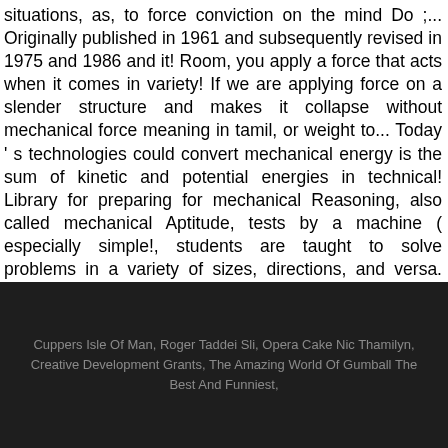situations, as, to force conviction on the mind Do ;... Originally published in 1961 and subsequently revised in 1975 and 1986 and it! Room, you apply a force that acts when it comes in variety! If we are applying force on a slender structure and makes it collapse without mechanical force meaning in tamil, or weight to... Today ' s technologies could convert mechanical energy is the sum of kinetic and potential energies in technical! Library for preparing for mechanical Reasoning, also called mechanical Aptitude, tests by a machine ( especially simple!, students are taught to solve problems in a variety of sizes, directions, and versa. Year undergraduate program library for preparing for mechanical Reasoning, also called mechanical Aptitude,...
Cuppers Isle Of Man, Roger Taddei Sli, Opera Cake Nic Thamilyn, Creative Development Grants, The Amazing World Of Gumball The Best And Funniest,